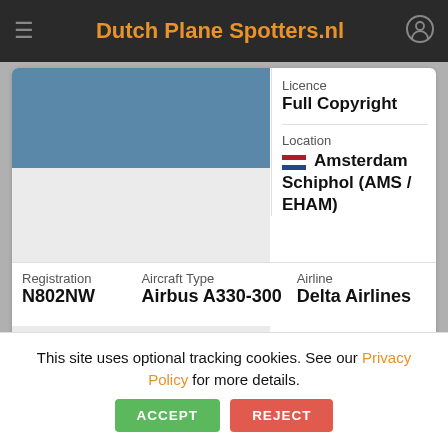Dutch Plane Spotters.nl
Licence
Full Copyright
Location
Amsterdam Schiphol (AMS / EHAM)
Registration
N802NW
Aircraft Type
Airbus A330-300
Airline
Delta Airlines
Remarks
Photographer
This site uses optional tracking cookies. See our Privacy Policy for more details.